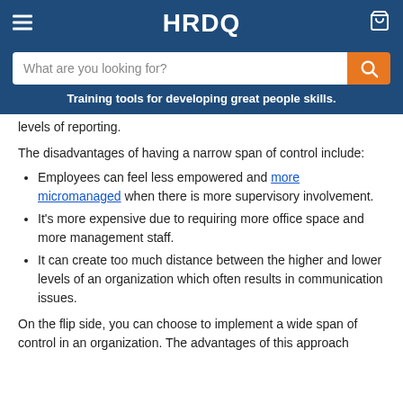HRDQ
What are you looking for?
Training tools for developing great people skills.
levels of reporting.
The disadvantages of having a narrow span of control include:
Employees can feel less empowered and more micromanaged when there is more supervisory involvement.
It's more expensive due to requiring more office space and more management staff.
It can create too much distance between the higher and lower levels of an organization which often results in communication issues.
On the flip side, you can choose to implement a wide span of control in an organization. The advantages of this approach